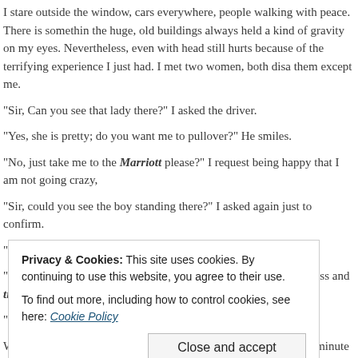I stare outside the window, cars everywhere, people walking with peace. There is something the huge, old buildings always held a kind of gravity on my eyes. Nevertheless, even with head still hurts because of the terrifying experience I just had. I met two women, both disa them except me.
“Sir, Can you see that lady there?” I asked the driver.
“Yes, she is pretty; do you want me to pullover?” He smiles.
“No, just take me to the Marriott please?” I request being happy that I am not going crazy,
“Sir, could you see the boy standing there?” I asked again just to confirm.
“Yes sir, I can see the boy,” he says.
“Are you ok sir?” he asks, probably noticed the tension, restlessness and tiredness on my f
“Yes I am fine” I replied.
We drove for around twenty minutes; sleep caught my eyes for a minute or so when tiredn
Privacy & Cookies: This site uses cookies. By continuing to use this website, you agree to their use.
To find out more, including how to control cookies, see here: Cookie Policy
Close and accept
Advertisements